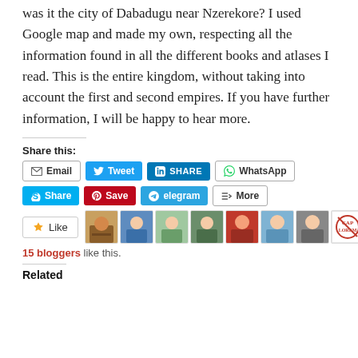was it the city of Dabadugu near Nzerekore? I used Google map and made my own, respecting all the information found in all the different books and atlases I read. This is the entire kingdom, without taking into account the first and second empires. If you have further information, I will be happy to hear more.
Share this:
Email | Tweet | SHARE | WhatsApp | Share | Save | Telegram | More
Like
15 bloggers like this.
Related